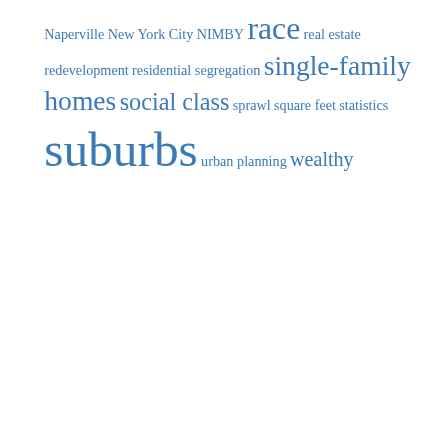Naperville New York City NIMBY race real estate redevelopment residential segregation single-family homes social class sprawl square feet statistics suburbs urban planning wealthy
FEEDS
RSS - Posts
RSS - Comments
FOLLOW LSOCIABLE ON TWITTER
My Tweets